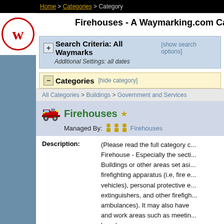Home > Categories > Category
Firehouses - A Waymarking.com Category
Search Criteria: All Waymarks [show search options]
Additional Settings: all dates
Categories [hide category]
All Categories > Buildings > Government and Services
Firehouses
Managed By: Firehouses
Description: (Please read the full category description for Firehouse - Especially the section on... Buildings or other areas set aside for firefighting apparatus (i.e, fire engines/vehicles), personal protective equipment, fire extinguishers, and other firefighting tools (and ambulances). It may also have living and work areas such as meeting rooms, laundry...